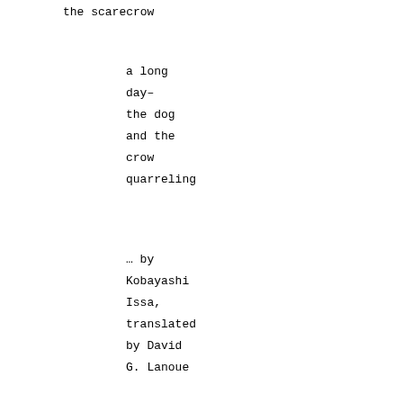the scarecrow
a long
day–
the dog
and the
crow
quarreling
… by
Kobayashi
Issa,
translated
by David
G. Lanoue
distant
thunder–
the dog's
toenails
click
against
the
linoleum